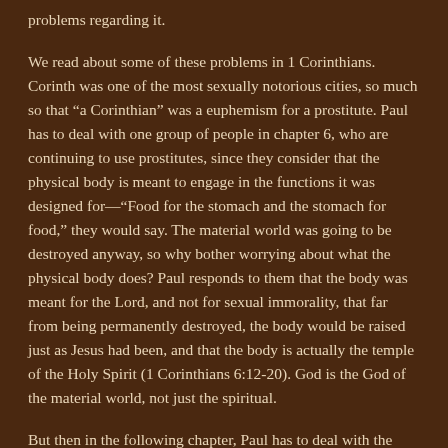problems regarding it.
We read about some of these problems in 1 Corinthians. Corinth was one of the most sexually notorious cities, so much so that “a Corinthian” was a euphemism for a prostitute. Paul has to deal with one group of people in chapter 6, who are continuing to use prostitutes, since they consider that the physical body is meant to engage in the functions it was designed for—“Food for the stomach and the stomach for food,” they would say. The material world was going to be destroyed anyway, so why bother worrying about what the physical body does? Paul responds to them that the body was meant for the Lord, and not for sexual immorality, that far from being permanently destroyed, the body would be raised just as Jesus had been, and that the body is actually the temple of the Holy Spirit (1 Corinthians 6:12-20). God is the God of the material world, not just the spiritual.
But then in the following chapter, Paul has to deal with the opposite issue: another group of people who think that sexual relations should be eschewed even in marriage. Paul’s response is that, no, because of the temptation toward immorality, husbands and wives actually have a duty to fulfill one another’s sexual